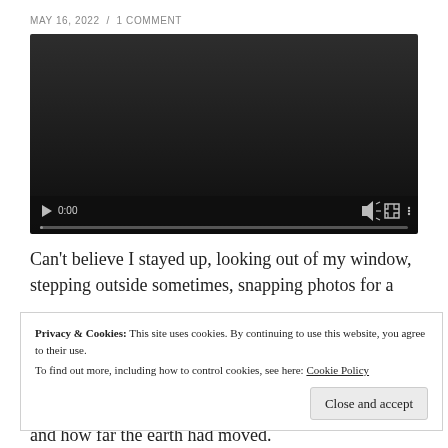MAY 16, 2022  /  1 COMMENT
[Figure (screenshot): Embedded video player showing a dark/black video screen with playback controls: play button, time display 0:00, volume icon, fullscreen icon, and more options icon. A progress bar is shown at the bottom.]
Can't believe I stayed up, looking out of my window, stepping outside sometimes, snapping photos for a
Privacy & Cookies: This site uses cookies. By continuing to use this website, you agree to their use.
To find out more, including how to control cookies, see here: Cookie Policy
Close and accept
and how far the earth had moved.